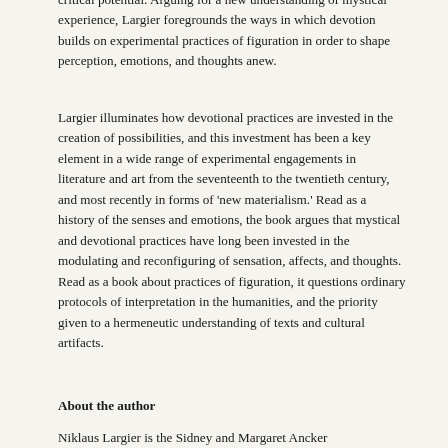critical potential. Arguing for a new understanding of mystical experience, Largier foregrounds the ways in which devotion builds on experimental practices of figuration in order to shape perception, emotions, and thoughts anew.
Largier illuminates how devotional practices are invested in the creation of possibilities, and this investment has been a key element in a wide range of experimental engagements in literature and art from the seventeenth to the twentieth century, and most recently in forms of 'new materialism.' Read as a history of the senses and emotions, the book argues that mystical and devotional practices have long been invested in the modulating and reconfiguring of sensation, affects, and thoughts. Read as a book about practices of figuration, it questions ordinary protocols of interpretation in the humanities, and the priority given to a hermeneutic understanding of texts and cultural artifacts.
About the author
Niklaus Largier is the Sidney and Margaret Ancker